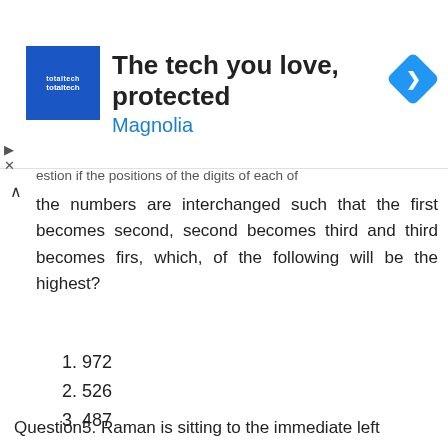[Figure (other): Advertisement banner for 'The tech you love, protected' by Magnolia with totaltech logo and navigation arrow icon]
estion if the positions of the digits of each of the numbers are interchanged such that the first becomes second, second becomes third and third becomes firs, which, of the following will be the highest?
1. 972
2. 526
3. 487
4. 251
5. 359
Question5. Raman is sitting to the immediate left